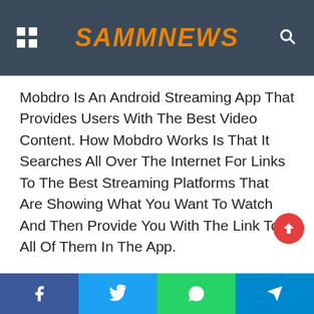SAMMNEWS
Mobdro Is An Android Streaming App That Provides Users With The Best Video Content. How Mobdro Works Is That It Searches All Over The Internet For Links To The Best Streaming Platforms That Are Showing What You Want To Watch And Then Provide You With The Link To All Of Them In The App.
When Using The Mobdro App To Watch Live EPL Matches, The Server Will Look All Over The World For Sites And Platforms Showing The Match And